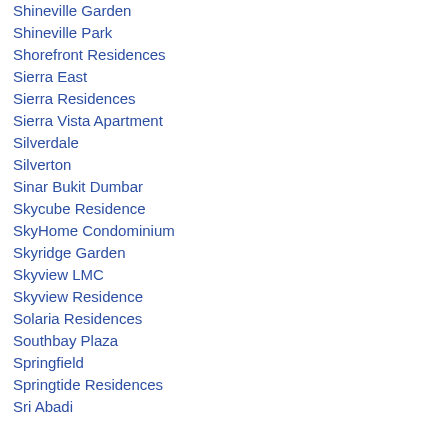Shineville Garden
Shineville Park
Shorefront Residences
Sierra East
Sierra Residences
Sierra Vista Apartment
Silverdale
Silverton
Sinar Bukit Dumbar
Skycube Residence
SkyHome Condominium
Skyridge Garden
Skyview LMC
Skyview Residence
Solaria Residences
Southbay Plaza
Springfield
Springtide Residences
Sri Abadi